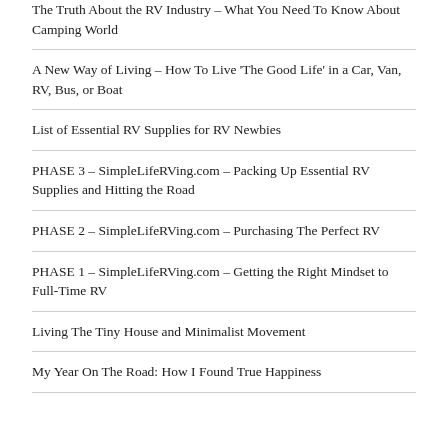The Truth About the RV Industry – What You Need To Know About Camping World
A New Way of Living – How To Live 'The Good Life' in a Car, Van, RV, Bus, or Boat
List of Essential RV Supplies for RV Newbies
PHASE 3 – SimpleLifeRVing.com – Packing Up Essential RV Supplies and Hitting the Road
PHASE 2 – SimpleLifeRVing.com – Purchasing The Perfect RV
PHASE 1 – SimpleLifeRVing.com – Getting the Right Mindset to Full-Time RV
Living The Tiny House and Minimalist Movement
My Year On The Road: How I Found True Happiness